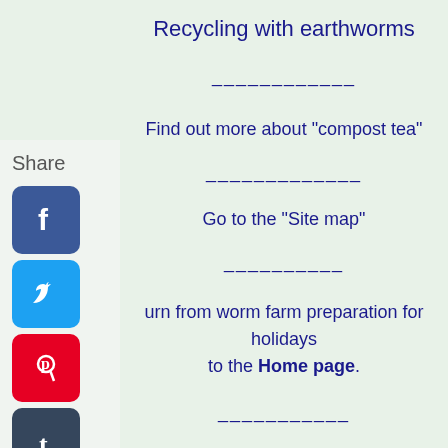Recycling with earthworms
------------
Find out more about "compost tea"
------------
Go to the "Site map"
----------
urn from worm farm preparation for holidays to the Home page.
-----------